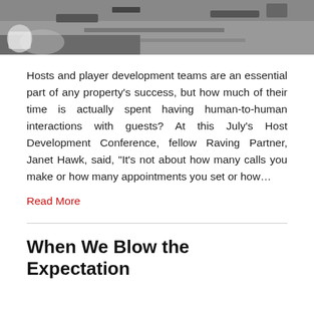[Figure (photo): Black and white photo of people at a conference table with papers, phones, and a coffee cup]
Hosts and player development teams are an essential part of any property’s success, but how much of their time is actually spent having human-to-human interactions with guests? At this July’s Host Development Conference, fellow Raving Partner, Janet Hawk, said, “It’s not about how many calls you make or how many appointments you set or how…
Read More
When We Blow the Expectation